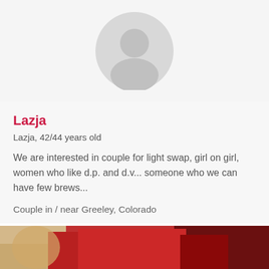[Figure (photo): Partial profile avatar — gray circle placeholder for user photo, on light gray background]
Lazja
Lazja, 42/44 years old
We are interested in couple for light swap, girl on girl, women who like d.p. and d.v... someone who we can have few brews...
Couple in / near Greeley, Colorado
[Figure (photo): Partial photo at bottom of page showing a person and red vehicle, cropped]